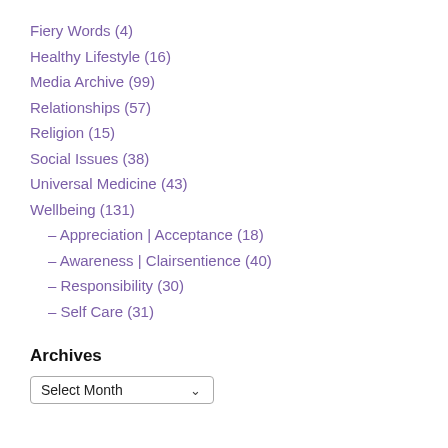Fiery Words (4)
Healthy Lifestyle (16)
Media Archive (99)
Relationships (57)
Religion (15)
Social Issues (38)
Universal Medicine (43)
Wellbeing (131)
– Appreciation | Acceptance (18)
– Awareness | Clairsentience (40)
– Responsibility (30)
– Self Care (31)
Archives
Select Month